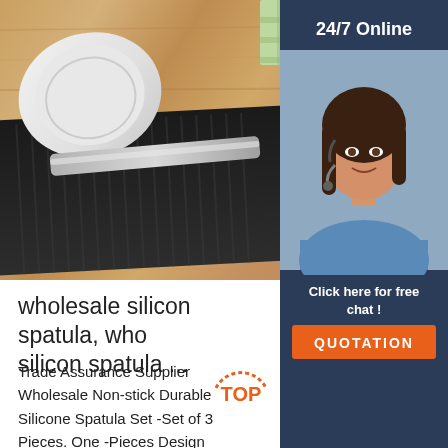[Figure (photo): Kitchen spatula on a wooden surface with vegetables (potato, tomato) in background and checkered cloth]
[Figure (photo): Customer service agent: woman with headset smiling, with dark blue background. Shows '24/7 Online', 'Click here for free chat!' text and QUOTATION button]
wholesale silicon spatula, wholesale silicon spatula ...
Trade Assurance Supplier Wholesale Non-stick Durable Silicone Spatula Set -Set of 3 Pieces. One -Pieces Design Silicone Spatula. US $2.30-$2.80 Piece. 100 Pieces (Min. Order) CN Jiangmen Tops Silicone & Plastic Products Co.,